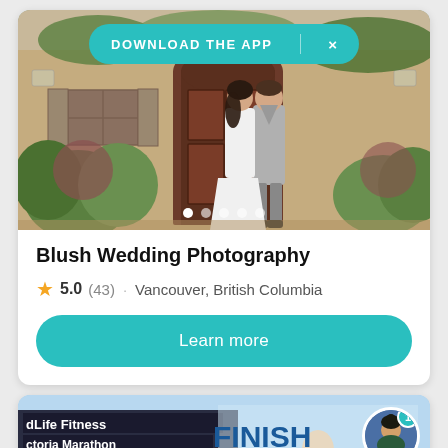[Figure (screenshot): Download the App banner overlaid on wedding photo carousel. Couple kissing in front of rustic building door with greenery. Five pagination dots visible at bottom of photo.]
Blush Wedding Photography
5.0 (43) · Vancouver, British Columbia
Learn more
[Figure (screenshot): Second listing card showing a finish line banner at a marathon race with dLife Fitness Victoria Marathon text, and a circular avatar with notification badge showing 1.]